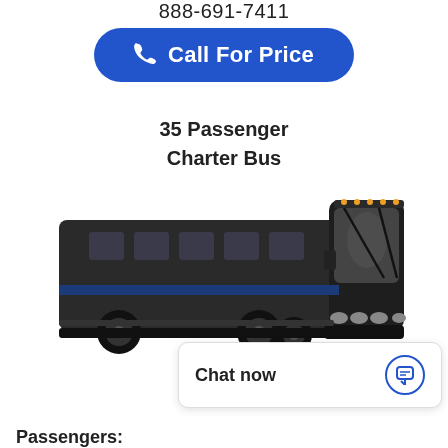888-691-7411
Call For Price
35 Passenger
Charter Bus
[Figure (photo): Dark/black charter bus photographed at a slight angle showing the front and passenger side, with amber roof lights and large windshield with wipers visible.]
Chat now
Passengers: